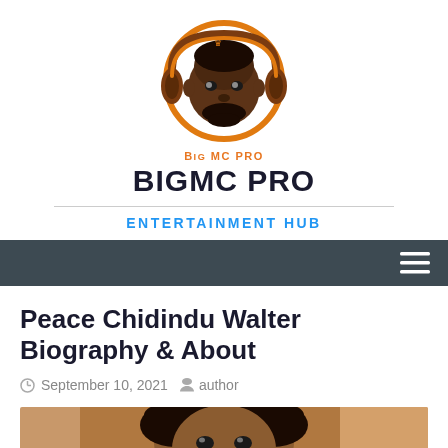[Figure (logo): BigMC Pro logo: cartoon face with headphones, orange circular border]
BIGMC PRO
BIG MC PRO
ENTERTAINMENT HUB
[Figure (other): Dark navigation bar with hamburger menu icon on the right]
Peace Chidindu Walter Biography & About
September 10, 2021   author
[Figure (photo): Close-up photo of a dark-skinned woman with curly hair wearing earrings]